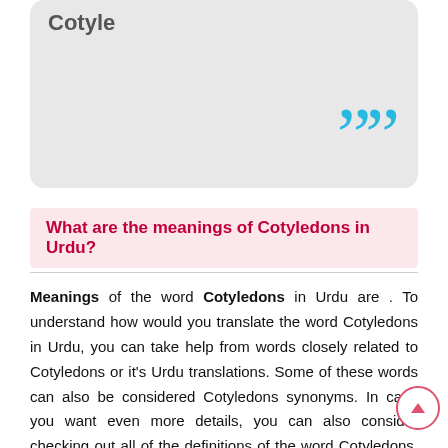Cotyle
””
What are the meanings of Cotyledons in Urdu?
Meanings of the word Cotyledons in Urdu are . To understand how would you translate the word Cotyledons in Urdu, you can take help from words closely related to Cotyledons or it’s Urdu translations. Some of these words can also be considered Cotyledons synonyms. In case you want even more details, you can also consider checking out all of the definitions of the word Cotyledons. If there is a match we also include idioms & quotations